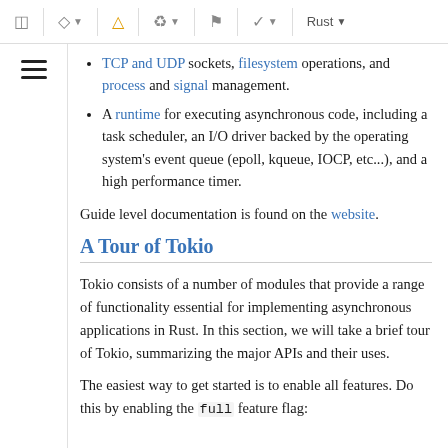Rust (toolbar with icons)
TCP and UDP sockets, filesystem operations, and process and signal management.
A runtime for executing asynchronous code, including a task scheduler, an I/O driver backed by the operating system's event queue (epoll, kqueue, IOCP, etc...), and a high performance timer.
Guide level documentation is found on the website.
A Tour of Tokio
Tokio consists of a number of modules that provide a range of functionality essential for implementing asynchronous applications in Rust. In this section, we will take a brief tour of Tokio, summarizing the major APIs and their uses.
The easiest way to get started is to enable all features. Do this by enabling the full feature flag: